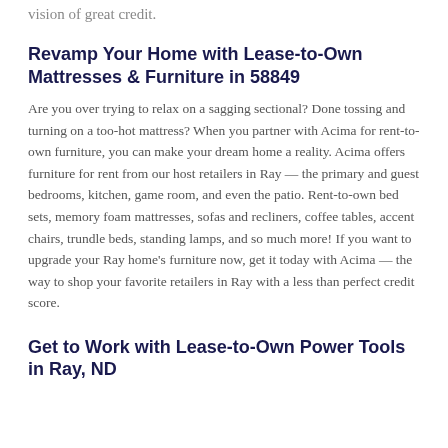vision of great credit.
Revamp Your Home with Lease-to-Own Mattresses & Furniture in 58849
Are you over trying to relax on a sagging sectional? Done tossing and turning on a too-hot mattress? When you partner with Acima for rent-to-own furniture, you can make your dream home a reality. Acima offers furniture for rent from our host retailers in Ray — the primary and guest bedrooms, kitchen, game room, and even the patio. Rent-to-own bed sets, memory foam mattresses, sofas and recliners, coffee tables, accent chairs, trundle beds, standing lamps, and so much more! If you want to upgrade your Ray home's furniture now, get it today with Acima — the way to shop your favorite retailers in Ray with a less than perfect credit score.
Get to Work with Lease-to-Own Power Tools in Ray, ND